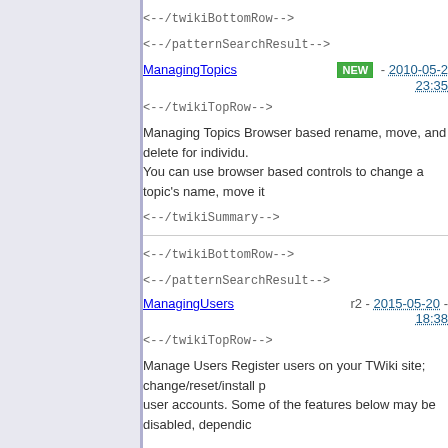<!--/twikiBottomRow-->
<!--/patternSearchResult-->
ManagingTopics
NEW - 2010-05-2 23:35
<!--/twikiTopRow-->
Managing Topics Browser based rename, move, and delete for individu... You can use browser based controls to change a topic's name, move it...
<!--/twikiSummary-->
<!--/twikiBottomRow-->
<!--/patternSearchResult-->
ManagingUsers
r2 - 2015-05-20 - 18:38
<!--/twikiTopRow-->
Manage Users Register users on your TWiki site; change/reset/install p... user accounts. Some of the features below may be disabled, dependin...